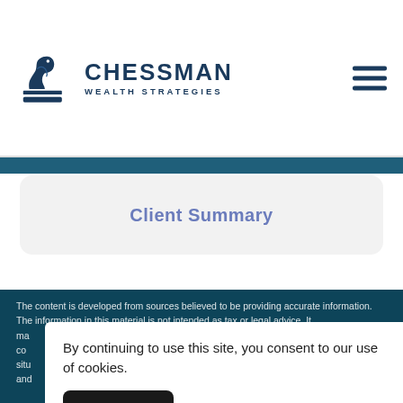[Figure (logo): Chessman Wealth Strategies logo — chess knight icon on left, brand name and tagline on right]
Client Summary
The content is developed from sources believed to be providing accurate information. The information in this material is not intended as tax or legal advice. It may not be used for the purpose of avoiding any federal tax penalties. Please consult legal or tax professionals for specific information regarding your individual situation,  and
By continuing to use this site, you consent to our use of cookies.
ACCEPT